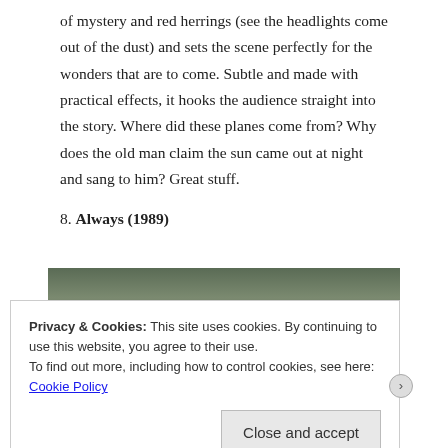of mystery and red herrings (see the headlights come out of the dust) and sets the scene perfectly for the wonders that are to come. Subtle and made with practical effects, it hooks the audience straight into the story. Where did these planes come from? Why does the old man claim the sun came out at night and sang to him? Great stuff.
8. Always (1989)
[Figure (photo): A dark photograph showing what appears to be airplane wheels/landing gear close to the ground, with trees and sky in the background. An orange/red stripe is visible at the bottom edge.]
Privacy & Cookies: This site uses cookies. By continuing to use this website, you agree to their use. To find out more, including how to control cookies, see here: Cookie Policy